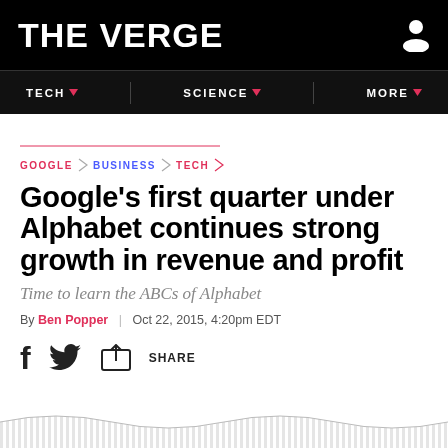THE VERGE
TECH | SCIENCE | MORE
GOOGLE \ BUSINESS \ TECH
Google's first quarter under Alphabet continues strong growth in revenue and profit
Time to learn the ABCs of Alphabet
By Ben Popper | Oct 22, 2015, 4:20pm EDT
f [twitter] SHARE